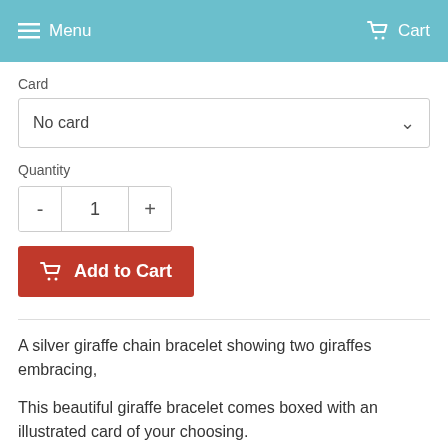Menu    Cart
Card
No card
Quantity
1
Add to Cart
A silver giraffe chain bracelet showing two giraffes embracing,
This beautiful giraffe bracelet comes boxed with an illustrated card of your choosing.
Available cards are: